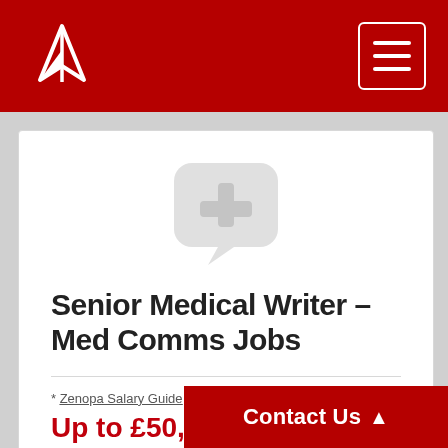Zenopa (logo) with navigation menu
[Figure (illustration): Medical plus sign icon inside a speech bubble, light gray color]
Senior Medical Writer – Med Comms Jobs
* Zenopa Salary Guide
Up to £50,000
Hybrid / Remote
Location: Across Multiple High Wycombe, London, & M...
Are you awesome at w...
Contact Us ▲